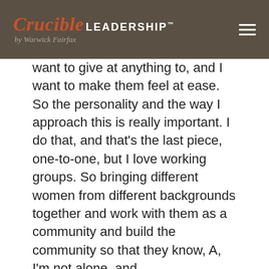Crucible LEADERSHIP™ by Warwick Fairfax
want to give at anything to, and I want to make them feel at ease. So the personality and the way I approach this is really important. I do that, and that's the last piece, one-to-one, but I love working groups. So bringing different women from different backgrounds together and work with them as a community and build the community so that they know, A, I'm not alone, and